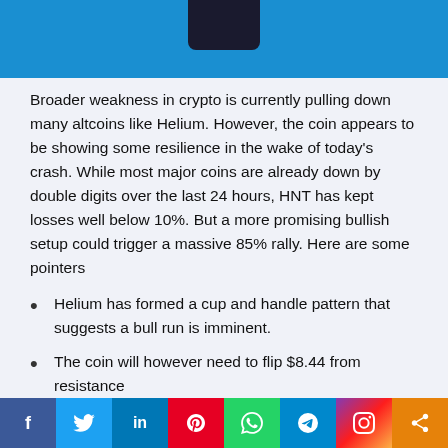[Figure (photo): Hero image with blue background and partial view of a dark smartphone at the top of the page]
Broader weakness in crypto is currently pulling down many altcoins like Helium. However, the coin appears to be showing some resilience in the wake of today's crash. While most major coins are already down by double digits over the last 24 hours, HNT has kept losses well below 10%. But a more promising bullish setup could trigger a massive 85% rally. Here are some pointers
Helium has formed a cup and handle pattern that suggests a bull run is imminent.
The coin will however need to flip $8.44 from resistance
[Figure (infographic): Social media sharing bar with icons for Facebook, Twitter, LinkedIn, Pinterest, WhatsApp, Telegram, Instagram, and Share]